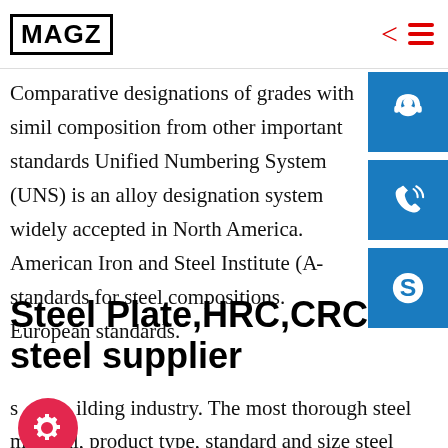MAGZ
Comparative designations of grades with similar composition from other important standards. Unified Numbering System (UNS) is an alloy designation system widely accepted in North America. American Iron and Steel Institute (A...) standards for steel compositions. European standards.
Steel Plate,HRC,CRC steel supplier
s...ilding industry. The most thorough steel material, product type, standard and size steel